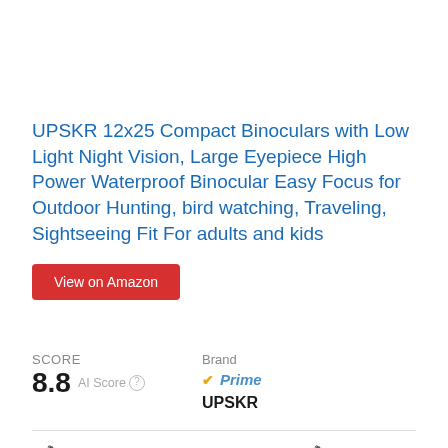UPSKR 12x25 Compact Binoculars with Low Light Night Vision, Large Eyepiece High Power Waterproof Binocular Easy Focus for Outdoor Hunting, bird watching, Traveling, Sightseeing Fit For adults and kids
View on Amazon
SCORE 8.8 AI Score | Brand Prime UPSKR
🔭Adjustable eye width and dual focus🔭- variety of